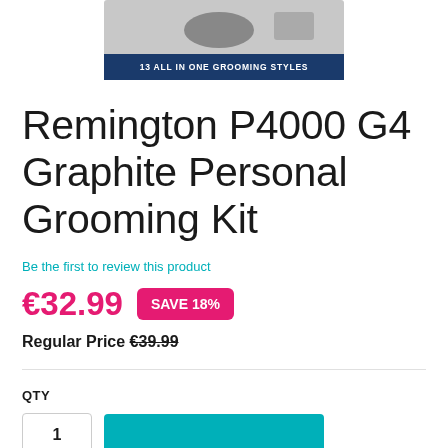[Figure (photo): Product image of Remington P4000 G4 grooming kit box with dark blue banner reading '13 ALL IN ONE GROOMING STYLES']
Remington P4000 G4 Graphite Personal Grooming Kit
Be the first to review this product
€32.99  SAVE 18%
Regular Price €39.99
QTY
1